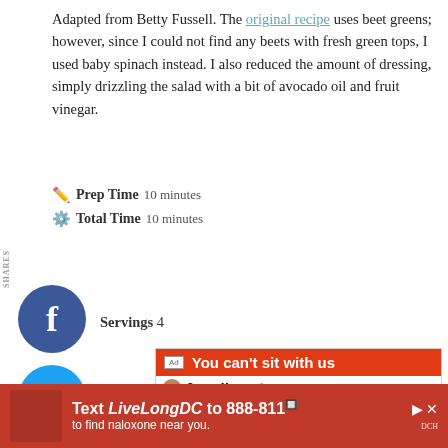Adapted from Betty Fussell. The original recipe uses beet greens; however, since I could not find any beets with fresh green tops, I used baby spinach instead. I also reduced the amount of dressing, simply drizzling the salad with a bit of avocado oil and fruit vinegar.
Prep Time 10 minutes
Total Time 10 minutes
Servings 4
[Figure (screenshot): Advertisement: BitLife - Life Simulator app ad showing 'You can't sit with us' with social network cliques interface]
[Figure (screenshot): Bottom banner advertisement: Text LiveLongDC to 888-811 to find naloxone near you.]